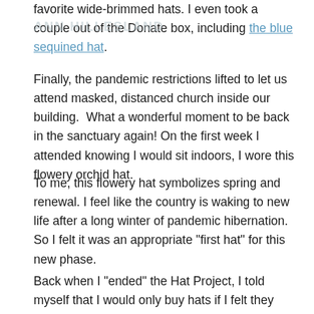favorite wide-brimmed hats. I even took a couple out of the Donate box, including the blue sequined hat.
Finally, the pandemic restrictions lifted to let us attend masked, distanced church inside our building.  What a wonderful moment to be back in the sanctuary again! On the first week I attended knowing I would sit indoors, I wore this flowery orchid hat.
To me, this flowery hat symbolizes spring and renewal. I feel like the country is waking to new life after a long winter of pandemic hibernation.  So I felt it was an appropriate "first hat" for this new phase.
Back when I "ended" the Hat Project, I told myself that I would only buy hats if I felt they were something special or if they filled a hole in my collection. I